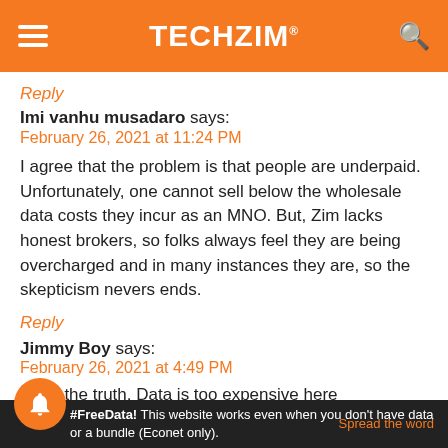TECHZiM
Reply
Imi vanhu musadaro says:
February 26, 2021 at 11:24 PM
I agree that the problem is that people are underpaid. Unfortunately, one cannot sell below the wholesale data costs they incur as an MNO. But, Zim lacks honest brokers, so folks always feel they are being overcharged and in many instances they are, so the skepticism nevers ends.
Reply
Jimmy Boy says:
February 26, 2021 at 4:49 PM
s say the truth. Data is too expensive here
#FreeData! This website works even when you don't have data or a bundle (Econet only).  Spread the word